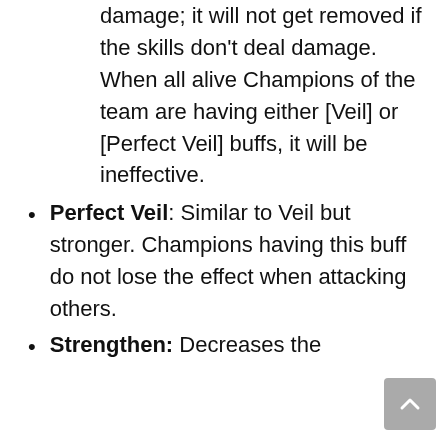damage; it will not get removed if the skills don't deal damage.
When all alive Champions of the team are having either [Veil] or [Perfect Veil] buffs, it will be ineffective.
Perfect Veil: Similar to Veil but stronger. Champions having this buff do not lose the effect when attacking others.
Strengthen: Decreases the